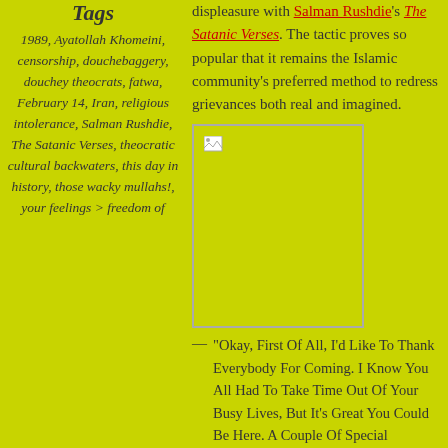Tags
1989, Ayatollah Khomeini, censorship, douchebaggery, douchey theocrats, fatwa, February 14, Iran, religious intolerance, Salman Rushdie, The Satanic Verses, theocratic cultural backwaters, this day in history, those wacky mullahs!, your feelings > freedom of
displeasure with Salman Rushdie's The Satanic Verses. The tactic proves so popular that it remains the Islamic community's preferred method to redress grievances both real and imagined.
[Figure (photo): A broken/missing image placeholder with a lime green background and gray border]
— "Okay, First Of All, I'd Like To Thank Everybody For Coming. I Know You All Had To Take Time Out Of Your Busy Lives, But It's Great You Could Be Here. A Couple Of Special Mentions Before I Forget: Thanks To Faisal And Mohammad For Donating The Envelopes. Also, Everybody